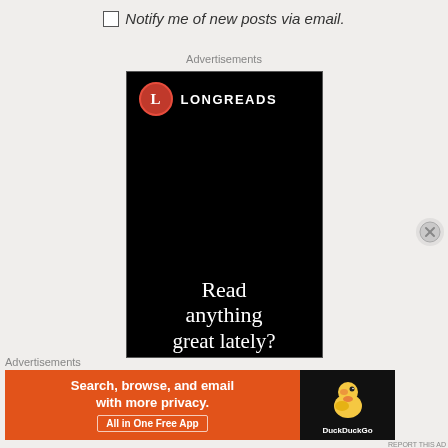Notify me of new posts via email.
Advertisements
[Figure (illustration): Longreads advertisement banner with black background, Longreads logo (red circle with L), and text 'Read anything great lately?']
Advertisements
[Figure (illustration): DuckDuckGo advertisement: 'Search, browse, and email with more privacy. All in One Free App' with DuckDuckGo duck logo on dark background]